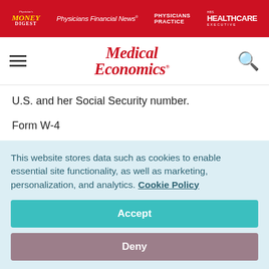[Figure (logo): Red banner with four publication logos: Physician's Money Digest, Physicians Financial News, Physicians Practice, and Healthcare Executive]
[Figure (logo): Medical Economics brand logo with hamburger menu and search icon]
U.S. and her Social Security number.
Form W-4
Employee's Withholding Allowance Certificate).
( According to the IRS, you are not required to withhold
This website stores data such as cookies to enable essential site functionality, as well as marketing, personalization, and analytics. Cookie Policy
Accept
Deny